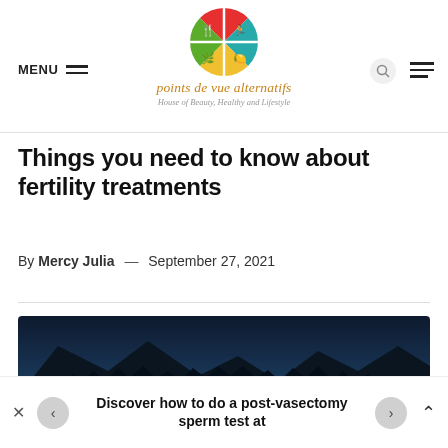[Figure (logo): Points de vue alternatifs circular logo with four colored quadrants (red/teal/green/yellow) each containing a white icon, with site name and tagline below]
MENU | points de vue alternatifs | House of Beauty, Healthy and Lifestyle
Things you need to know about fertility treatments
By Mercy Julia — September 27, 2021
[Figure (photo): Landscape photo of a dark forest and mountains reflected in a lake at dusk/night with blue tones]
Discover how to do a post-vasectomy sperm test at